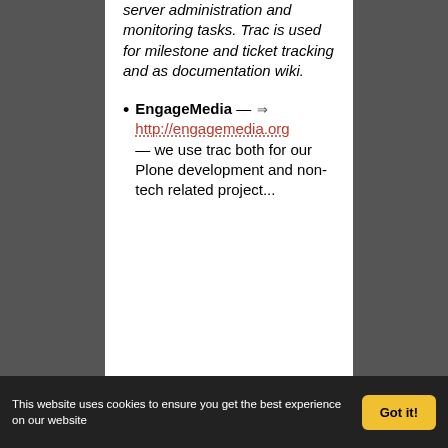server administration and monitoring tasks. Trac is used for milestone and ticket tracking and as documentation wiki.
EngageMedia — http://engagemedia.org — we use trac both for our Plone development and non-tech related project...
This website uses cookies to ensure you get the best experience on our website